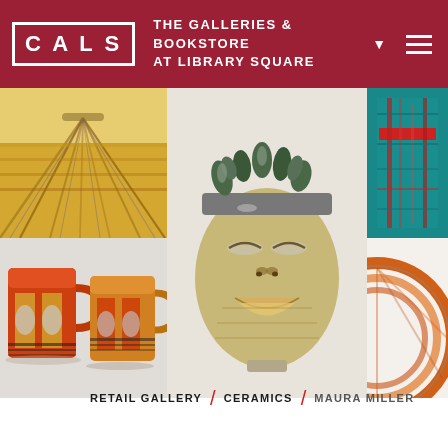CALS — THE GALLERIES & BOOKSTORE AT LIBRARY SQUARE
[Figure (photo): A gallery image grid showing 4 ceramic and art pieces: top-left is a wheat field painting with converging rows in golden yellow and purple tones; center large is a ceramic face sculpture with a metallic crown of organic protrusions and expressive facial features in gold, silver, and brown; top-right is a teal/red striped geometric textile piece; bottom-left shows two orange, yellow, and black ceramic mugs with geometric designs; bottom-right is a partial view of an orange woven circular piece.]
RETAIL GALLERY / CERAMICS / MAURA MILLER